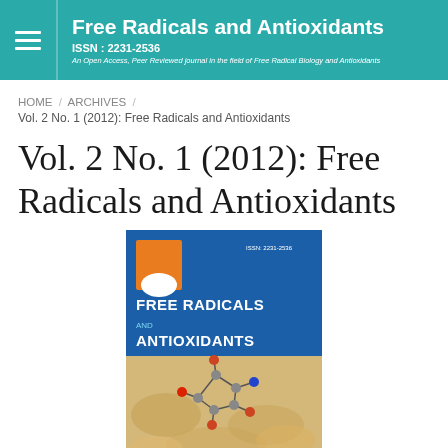Free Radicals and Antioxidants | ISSN : 2231-2536 | An Open Access, Peer Reviewed journal in the field of Free Radical Biology and Antioxidants
HOME / ARCHIVES / Vol. 2 No. 1 (2012): Free Radicals and Antioxidants
Vol. 2 No. 1 (2012): Free Radicals and Antioxidants
[Figure (illustration): Journal cover of Free Radicals and Antioxidants, Vol. 2 No. 1 (2012), showing a blue upper section with orange logo, ISSN, and journal title 'Free Radicals and Antioxidants', and a lower section with a molecular structure model over pills/capsules background.]